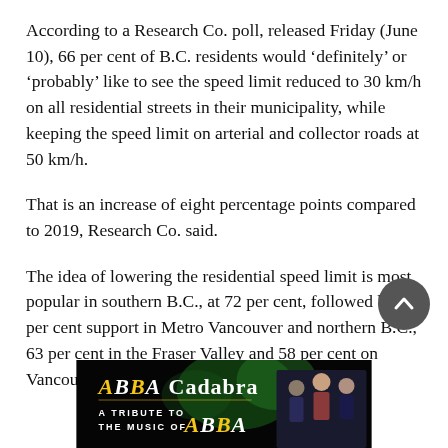According to a Research Co. poll, released Friday (June 10), 66 per cent of B.C. residents would ‘definitely’ or ‘probably’ like to see the speed limit reduced to 30 km/h on all residential streets in their municipality, while keeping the speed limit on arterial and collector roads at 50 km/h.
That is an increase of eight percentage points compared to 2019, Research Co. said.
The idea of lowering the residential speed limit is most popular in southern B.C., at 72 per cent, followed by 67 per cent support in Metro Vancouver and northern B.C., 63 per cent in the Fraser Valley and 58 per cent on Vancouver Island.
[Figure (photo): Advertisement banner for ABBA Cadabra - A Tribute to the Music of ABBA, showing performers and stylized ABBA logo text on dark background]